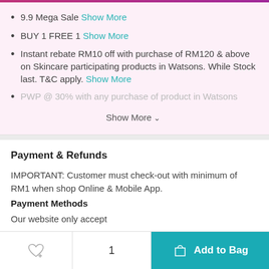9.9 Mega Sale Show More
BUY 1 FREE 1 Show More
Instant rebate RM10 off with purchase of RM120 & above on Skincare participating products in Watsons. While Stock last. T&C apply. Show More
PWP @ 30% with any purchase of product in Watsons
Show More
Payment & Refunds
IMPORTANT: Customer must check-out with minimum of RM1 when shop Online & Mobile App.
Payment Methods
Our website only accept
1. Credit Card (VISA, Mastercard) issued by local banks / foreign banks.
2. Direct Debit